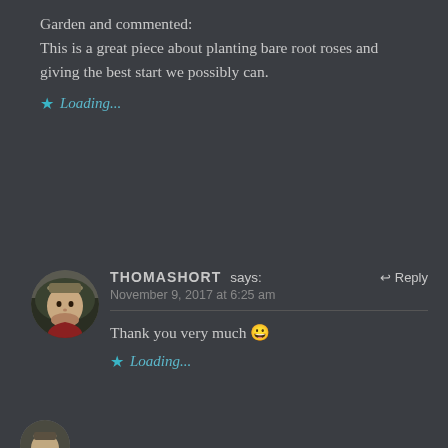Garden and commented:
This is a great piece about planting bare root roses and giving the best start we possibly can.
Loading...
THOMASHORT says:
November 9, 2017 at 6:25 am
Reply
Thank you very much 😀
Loading...